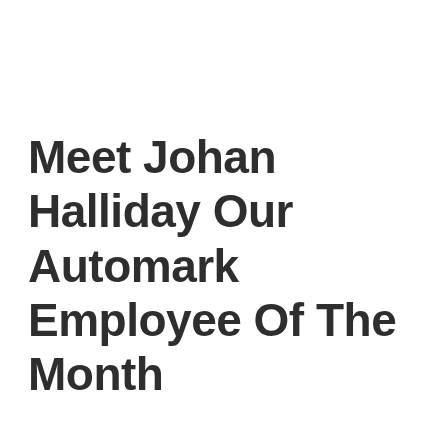Meet Johan Halliday Our Automark Employee Of The Month